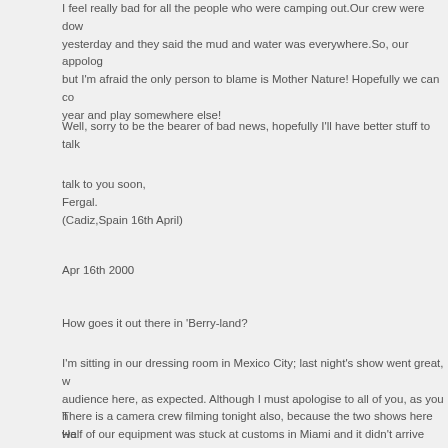I feel really bad for all the people who were camping out.Our crew were down yesterday and they said the mud and water was everywhere.So, our appolog but I'm afraid the only person to blame is Mother Nature! Hopefully we can co year and play somewhere else!
Well, sorry to be the bearer of bad news, hopefully I'll have better stuff to talk
talk to you soon,
Fergal.
(Cadiz,Spain 16th April)
Apr 16th 2000
How goes it out there in 'Berry-land?
I'm sitting in our dressing room in Mexico City; last night's show went great, w audience here, as expected. Although I must apologise to all of you, as you h Half of our equipment was stuck at customs in Miami and it didn't arrive here the show 'till 9:00. But I was speaking afterwards to some people who had se it was great. So hopefully tonight will be as good if not better (there's always
There is a camera crew filming tonight also, because the two shows here we many people who couldn't get tickets, so this is for you!! It will be shown soo for it.